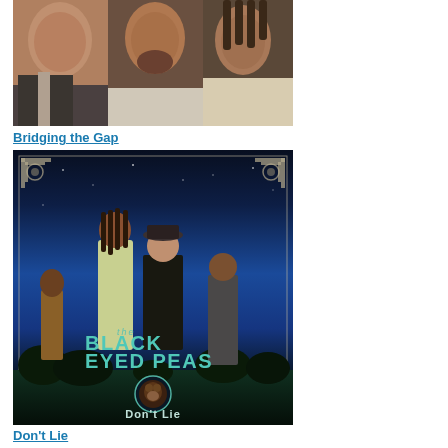[Figure (photo): Close-up photo of three men from a hip-hop group, cropped at top, showing faces and upper bodies against a neutral background]
Bridging the Gap
[Figure (photo): Album cover for The Black Eyed Peas 'Don't Lie' showing four band members standing against a teal/dark blue sky background with decorative border corners, the band logo in teal text at bottom center, and a circular monkey emblem]
Don't Lie